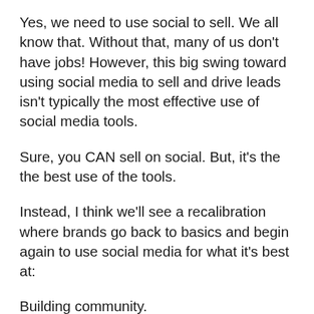Yes, we need to use social to sell. We all know that. Without that, many of us don't have jobs! However, this big swing toward using social media to sell and drive leads isn't typically the most effective use of social media tools.
Sure, you CAN sell on social. But, it's the the best use of the tools.
Instead, I think we'll see a recalibration where brands go back to basics and begin again to use social media for what it's best at:
Building community.
Driving awareness and engagement with customers.